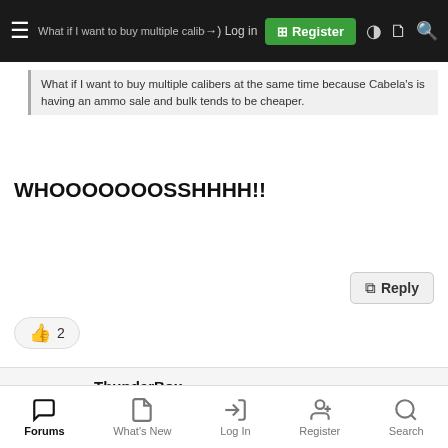What if I want to buy multiple calibers at the same time because Cabela's is having an ammo sale and bulk tends to be cheaper. | Log in | Register
WHOOOOOOOSSHHHH!!
Reply
👍 2
ThunderBox
LE
25 May 2022  #14,334
It would be very amusing if the UN offered to intervene in Americas problem!
Forums | What's New | Log In | Register | Search